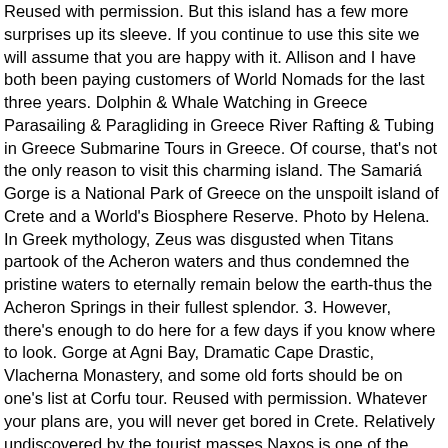Reused with permission. But this island has a few more surprises up its sleeve. If you continue to use this site we will assume that you are happy with it. Allison and I have both been paying customers of World Nomads for the last three years. Dolphin & Whale Watching in Greece Parasailing & Paragliding in Greece River Rafting & Tubing in Greece Submarine Tours in Greece. Of course, that's not the only reason to visit this charming island. The Samariá Gorge is a National Park of Greece on the unspoilt island of Crete and a World's Biosphere Reserve. Photo by Helena. In Greek mythology, Zeus was disgusted when Titans partook of the Acheron waters and thus condemned the pristine waters to eternally remain below the earth-thus the Acheron Springs in their fullest splendor. 3. However, there's enough to do here for a few days if you know where to look. Gorge at Agni Bay, Dramatic Cape Drastic, Vlacherna Monastery, and some old forts should be on one's list at Corfu tour. Reused with permission. Whatever your plans are, you will never get bored in Crete. Relatively undiscovered by the tourist masses Naxos is one of the highlights of travelling to Greece. Kastania Cave is arguably the islands' iconic attraction formed millions of years ago with lots of rare geological marvels, including a church and café close by. The stunning historic site in Greece and the sheer beauty of the